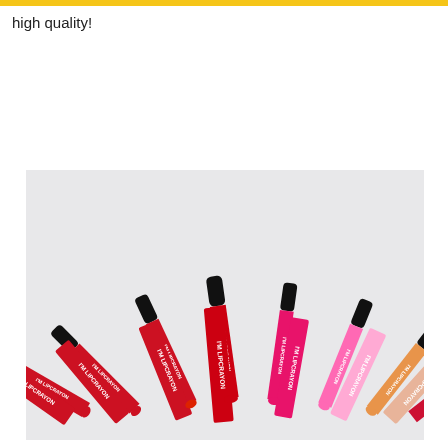high quality!
[Figure (photo): Fan arrangement of multiple 'I'M LIPCRAYON' lip crayon products in various colors (red, pink, nude) with black caps, displayed with their packaging boxes fanned out on a light gray background.]